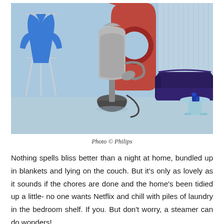[Figure (photo): A product photo showing a Philips garment steamer standing upright in a stylized blue room setting with a clothes rack holding a blue jacket on the left, a dark purple sofa and light blue side table on the right, and abstract red and blue geometric shapes in the background.]
Photo © Philips
Nothing spells bliss better than a night at home, bundled up in blankets and lying on the couch. But it's only as lovely as it sounds if the chores are done and the home's been tidied up a little- no one wants Netflix and chill with piles of laundry in the bedroom shelf. If you. But don't worry, a steamer can do wonders!